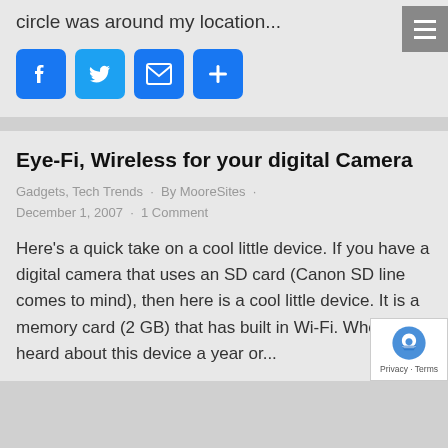circle was around my location...
[Figure (infographic): Social sharing icons: Facebook, Twitter, Email, and a plus/more button]
Eye-Fi, Wireless for your digital Camera
Gadgets, Tech Trends · By MooreSites · December 1, 2007 · 1 Comment
Here's a quick take on a cool little device. If you have a digital camera that uses an SD card (Canon SD line comes to mind), then here is a cool little device. It is a memory card (2 GB) that has built in Wi-Fi. When I first heard about this device a year or...